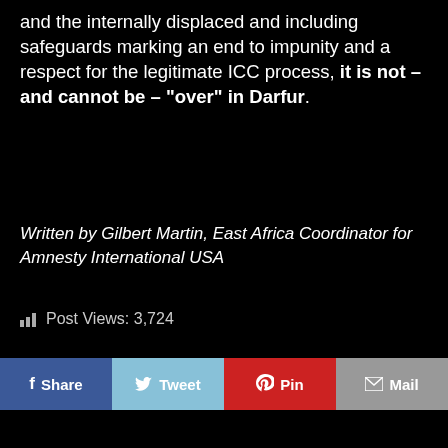and the internally displaced and including safeguards marking an end to impunity and a respect for the legitimate ICC process, it is not – and cannot be – "over" in Darfur.
Written by Gilbert Martin, East Africa Coordinator for Amnesty International USA
Post Views: 3,724
[Figure (infographic): Social sharing buttons: Share (Facebook, blue), Tweet (Twitter, light blue), Pin (Pinterest, red), Mail (grey)]
Previous Post  ❮ Zuma Zooms To Zim
Next Post  Human Rights Missing From Health Care Debate ❯
Comments (9)
Sort by: Date   Rating   Last Activity